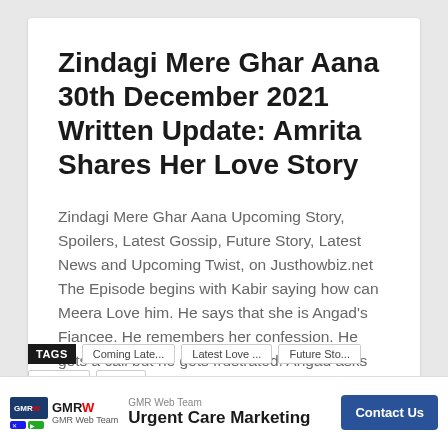Zindagi Mere Ghar Aana 30th December 2021 Written Update: Amrita Shares Her Love Story
Zindagi Mere Ghar Aana Upcoming Story, Spoilers, Latest Gossip, Future Story, Latest News and Upcoming Twist, on Justhowbiz.net The Episode begins with Kabir saying how can Meera Love him. He says that she is Angad's Fiancee. He remembers her confession. He gets a call but he gets frustrated. Angad asks him why is he looking … Continue reading
JustShowBiz
TAGS
Hassa... wist Latest...
[Figure (other): Advertisement banner: GMR Web Team - Urgent Care Marketing with Contact Us button]